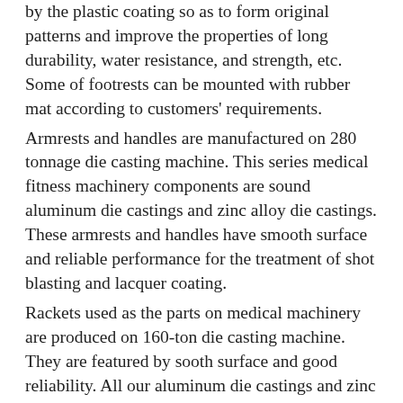by the plastic coating so as to form original patterns and improve the properties of long durability, water resistance, and strength, etc. Some of footrests can be mounted with rubber mat according to customers' requirements.
Armrests and handles are manufactured on 280 tonnage die casting machine. This series medical fitness machinery components are sound aluminum die castings and zinc alloy die castings. These armrests and handles have smooth surface and reliable performance for the treatment of shot blasting and lacquer coating.
Rackets used as the parts on medical machinery are produced on 160-ton die casting machine. They are featured by sooth surface and good reliability. All our aluminum die castings and zinc alloy die castings including these medical fitness machinery components are consisted with the ISO9001 standard.